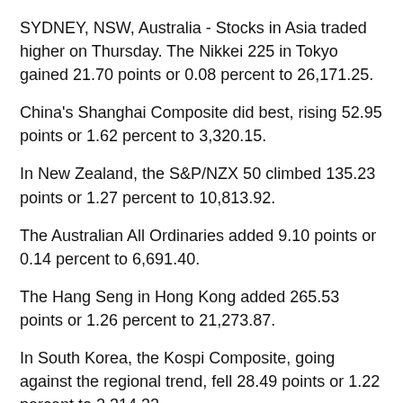SYDNEY, NSW, Australia - Stocks in Asia traded higher on Thursday. The Nikkei 225 in Tokyo gained 21.70 points or 0.08 percent to 26,171.25.
China's Shanghai Composite did best, rising 52.95 points or 1.62 percent to 3,320.15.
In New Zealand, the S&P/NZX 50 climbed 135.23 points or 1.27 percent to 10,813.92.
The Australian All Ordinaries added 9.10 points or 0.14 percent to 6,691.40.
The Hang Seng in Hong Kong added 265.53 points or 1.26 percent to 21,273.87.
In South Korea, the Kospi Composite, going against the regional trend, fell 28.49 points or 1.22 percent to 2,314.32.